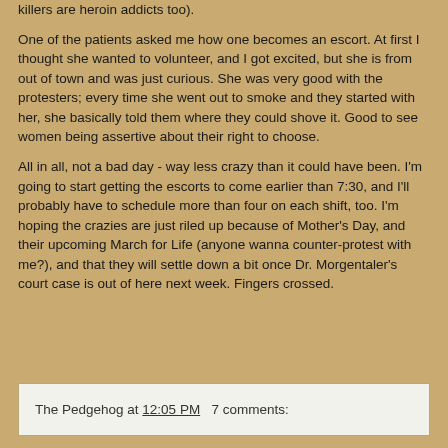killers are heroin addicts too).
One of the patients asked me how one becomes an escort. At first I thought she wanted to volunteer, and I got excited, but she is from out of town and was just curious. She was very good with the protesters; every time she went out to smoke and they started with her, she basically told them where they could shove it. Good to see women being assertive about their right to choose.
All in all, not a bad day - way less crazy than it could have been. I'm going to start getting the escorts to come earlier than 7:30, and I'll probably have to schedule more than four on each shift, too. I'm hoping the crazies are just riled up because of Mother's Day, and their upcoming March for Life (anyone wanna counter-protest with me?), and that they will settle down a bit once Dr. Morgentaler's court case is out of here next week. Fingers crossed.
The Pedgehog at 12:05 PM   7 comments: